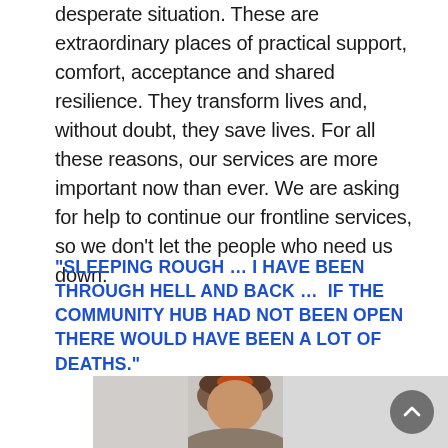desperate situation. These are extraordinary places of practical support, comfort, acceptance and shared resilience. They transform lives and, without doubt, they save lives. For all these reasons, our services are more important now than ever. We are asking for help to continue our frontline services, so we don't let the people who need us down.
“SLEEPING ROUGH … I HAVE BEEN THROUGH HELL AND BACK …  IF THE COMMUNITY HUB HAD NOT BEEN OPEN THERE WOULD HAVE BEEN A LOT OF DEATHS.”
[Figure (photo): A woman with curly brown hair and an orange headband, photographed from the shoulders up against a light background.]